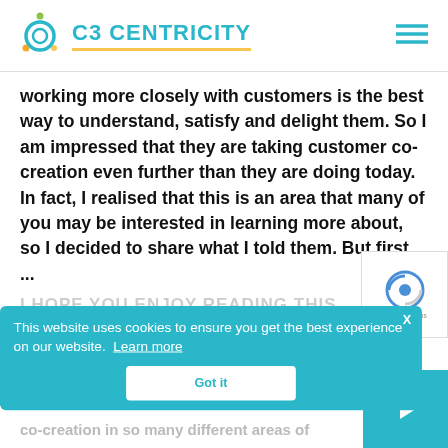C3 CENTRICITY
working more closely with customers is the best way to understand, satisfy and delight them. So I am impressed that they are taking customer co-creation even further than they are doing today. In fact, I realised that this is an area that many of you may be interested in learning more about, so I decided to share what I told them. But first ...
I HOPE YOU ENJOY READING THIS
[Figure (screenshot): Cookie consent banner with teal background reading 'This website uses cookies to ensure you get the best experience on our website. Learn more' with a 'Got it' button and an X close button]
co-creation in so many different areas of